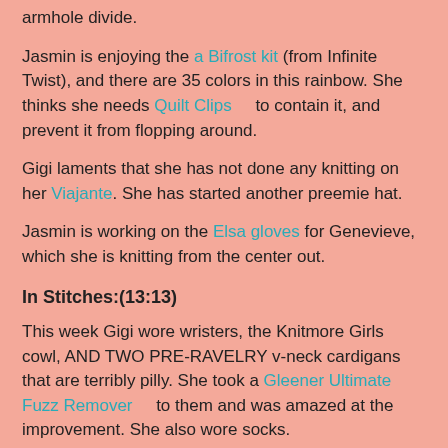armhole divide.
Jasmin is enjoying the a Bifrost kit (from Infinite Twist), and there are 35 colors in this rainbow. She thinks she needs Quilt Clips    to contain it, and prevent it from flopping around.
Gigi laments that she has not done any knitting on her Viajante. She has started another preemie hat.
Jasmin is working on the Elsa gloves for Genevieve, which she is knitting from the center out.
In Stitches:(13:13)
This week Gigi wore wristers, the Knitmore Girls cowl, AND TWO PRE-RAVELRY v-neck cardigans that are terribly pilly. She took a Gleener Ultimate Fuzz Remover    to them and was amazed at the improvement. She also wore socks.
Jasmin mentions the Cassidy, by Bonne Marie Burns.